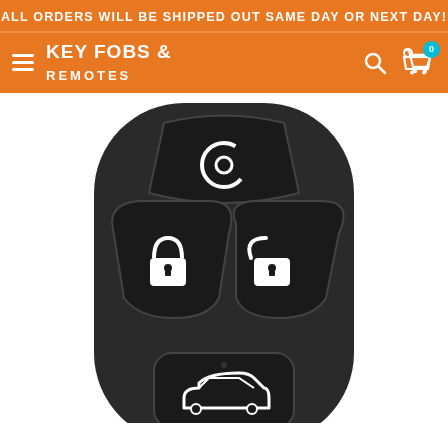ALL ORDERS WILL BE SHIPPED OUT SAME DAY OR NEXT DAY!
[Figure (logo): Key Fobs & Remotes website header with hamburger menu, logo text 'KEY FOBS & REMOTES', search icon, and cart icon with badge showing 0]
[Figure (photo): Close-up photo of a black car key fob remote with 4 buttons: top button with remote start icon, bottom-left lock button, bottom-right unlock button, and a bottom trunk/car button]